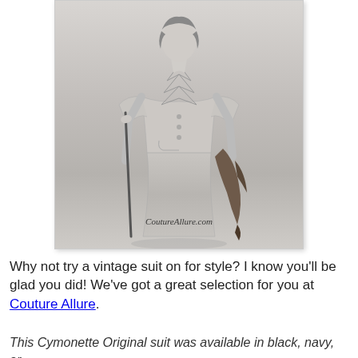[Figure (photo): A black and white vintage photograph of a woman wearing a tailored suit with chevron detailing on the upper chest/yoke area, holding a cane in one hand and a fur piece in the other. Watermark reads 'CoutureAllure.com'.]
Why not try a vintage suit on for style? I know you'll be glad you did! We've got a great selection for you at Couture Allure.
This Cymonette Original suit was available in black, navy, or